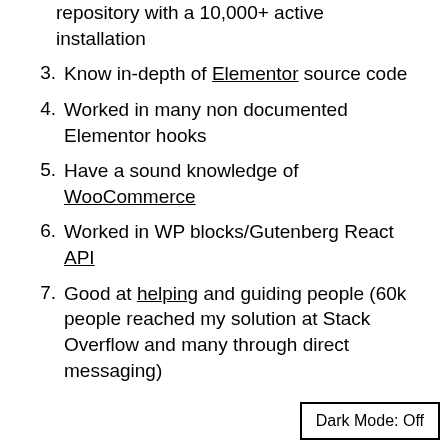repository with a 10,000+ active installation
3. Know in-depth of Elementor source code
4. Worked in many non documented Elementor hooks
5. Have a sound knowledge of WooCommerce
6. Worked in WP blocks/Gutenberg React API
7. Good at helping and guiding people (60k people reached my solution at Stack Overflow and many through direct messaging)